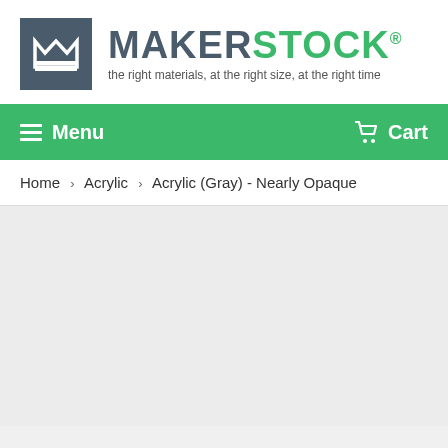[Figure (logo): Makerstock logo with gray box icon containing stylized M and lines, followed by MAKERSTOCK brand name in gray and green, with tagline 'the right materials, at the right size, at the right time']
Menu  Cart
Home > Acrylic > Acrylic (Gray) - Nearly Opaque